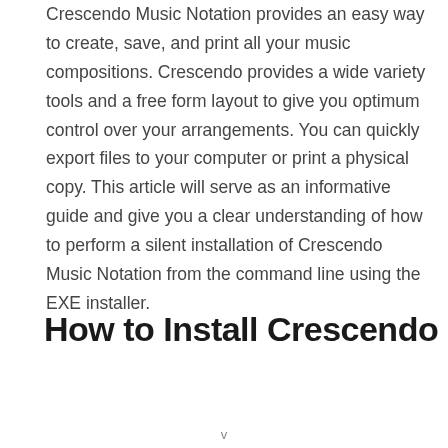Crescendo Music Notation provides an easy way to create, save, and print all your music compositions. Crescendo provides a wide variety tools and a free form layout to give you optimum control over your arrangements. You can quickly export files to your computer or print a physical copy. This article will serve as an informative guide and give you a clear understanding of how to perform a silent installation of Crescendo Music Notation from the command line using the EXE installer.
How to Install Crescendo
v